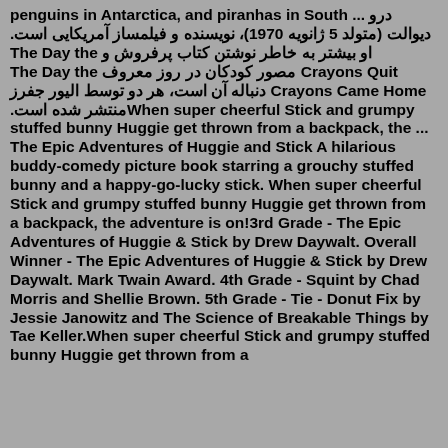penguins in Antarctica, and piranhas in South ... درو دیوالت (متولد 5 ژانویه 1970)، نویسنده و فیلمساز آمریکایی است. او بیشتر به خاطر نوشتن کتاب پرفروش و The Day the Crayons Quit مصور کودکان در روز معروف The Day the Crayons Came Home دنباله آن است، هر دو توسط الیور جفرز منتشر شده است.When super cheerful Stick and grumpy stuffed bunny Huggie get thrown from a backpack, the ... The Epic Adventures of Huggie and Stick A hilarious buddy-comedy picture book starring a grouchy stuffed bunny and a happy-go-lucky stick. When super cheerful Stick and grumpy stuffed bunny Huggie get thrown from a backpack, the adventure is on!3rd Grade - The Epic Adventures of Huggie & Stick by Drew Daywalt. Overall Winner - The Epic Adventures of Huggie & Stick by Drew Daywalt. Mark Twain Award. 4th Grade - Squint by Chad Morris and Shellie Brown. 5th Grade - Tie - Donut Fix by Jessie Janowitz and The Science of Breakable Things by Tae Keller.When super cheerful Stick and grumpy stuffed bunny Huggie get thrown from a